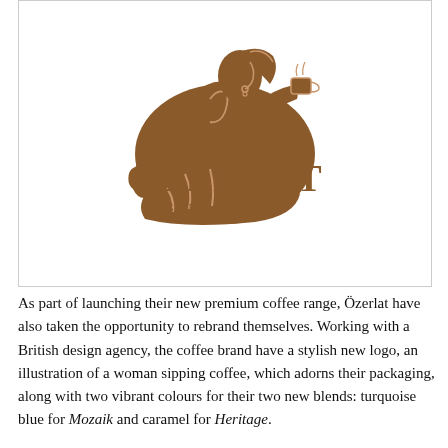[Figure (logo): Özerlat coffee brand logo: a brown silhouette illustration of a woman sipping from a cup, with the text ÖZERLAT in large serif letters and SINCE 1917 below in spaced capitals, all in brown on white.]
As part of launching their new premium coffee range, Özerlat have also taken the opportunity to rebrand themselves. Working with a British design agency, the coffee brand have a stylish new logo, an illustration of a woman sipping coffee, which adorns their packaging, along with two vibrant colours for their two new blends: turquoise blue for Mozaik and caramel for Heritage.

The new look will make its debut at Taste of London this week, where